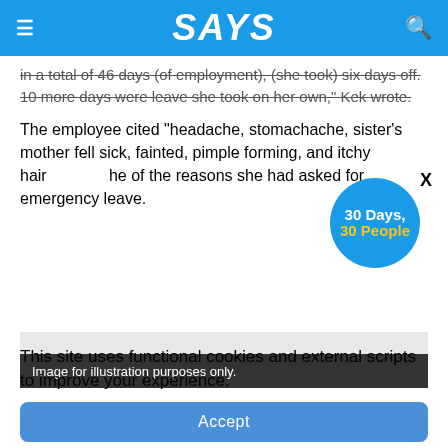SAYS
In a total of 46 days (of employment), (she took) six days off. 10 more days were leave she took on her own," Kek wrote.
The employee cited "headache, stomachache, sister's mother fell sick, fainted, pimple forming, and itchy hair ...he of the reasons she had asked for emergency leave.
[Figure (photo): Image placeholder with caption bar: Image for illustration purposes only.]
Image via Yokosuka Food Corner
This site uses functional cookies and external scripts to improve your experience.